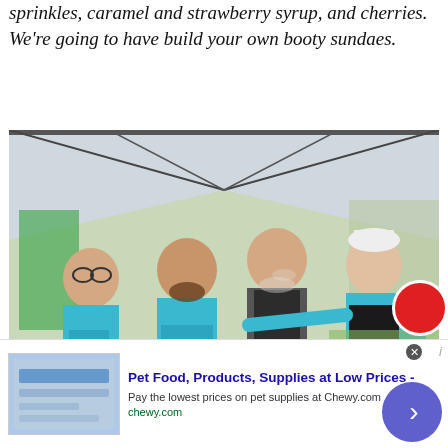sprinkles, caramel and strawberry syrup, and cherries. We're going to have build your own booty sundaes.
[Figure (photo): Four men wearing light blue T-shirts with a logo standing under a white event tent canopy, smiling and posing with hand gestures. One man wears a black apron with colorful writing. There is food visible in the foreground and a green outdoor festival setting in the background.]
Pet Food, Products, Supplies at Low Prices - Pay the lowest prices on pet supplies at Chewy.com chewy.com